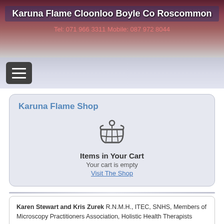Karuna Flame Cloonloo Boyle Co Roscommon
Tel: 071 966 3311 Mobile: 087 972 8044
Karuna Flame Shop
[Figure (illustration): Shopping basket / cart icon in grey]
Items in Your Cart
Your cart is empty
Visit The Shop
Karen Stewart and Kris Zurek R.N.M.H., ITEC, SNHS, Members of Microscopy Practitioners Association, Holistic Health Therapists

Holistic Health Centre,
Cloonloo, Boyle,
Co. Sligo.

Tel: 071 966 3311